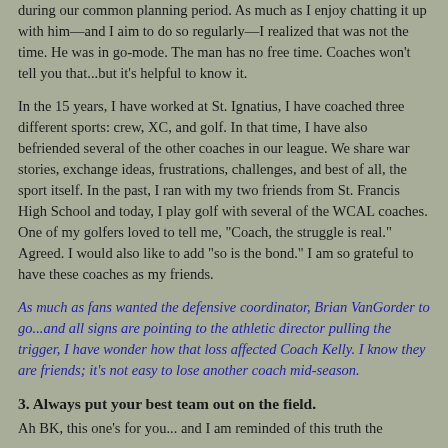during our common planning period. As much as I enjoy chatting it up with him—and I aim to do so regularly—I realized that was not the time. He was in go-mode. The man has no free time. Coaches won't tell you that...but it's helpful to know it.
In the 15 years, I have worked at St. Ignatius, I have coached three different sports: crew, XC, and golf. In that time, I have also befriended several of the other coaches in our league. We share war stories, exchange ideas, frustrations, challenges, and best of all, the sport itself. In the past, I ran with my two friends from St. Francis High School and today, I play golf with several of the WCAL coaches. One of my golfers loved to tell me, "Coach, the struggle is real." Agreed. I would also like to add "so is the bond." I am so grateful to have these coaches as my friends.
As much as fans wanted the defensive coordinator, Brian VanGorder to go...and all signs are pointing to the athletic director pulling the trigger, I have wonder how that loss affected Coach Kelly. I know they are friends; it's not easy to lose another coach mid-season.
3. Always put your best team out on the field.
Ah BK, this one's for you... and I am reminded of this truth the